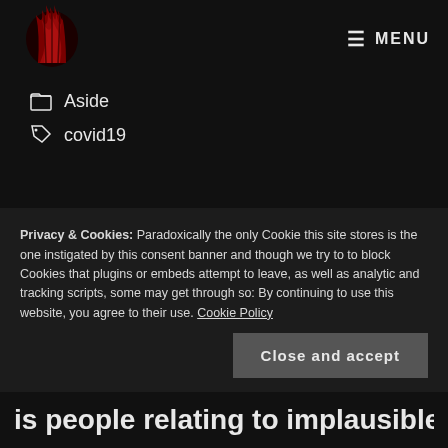MENU
Aside
covid19
Privacy & Cookies: Paradoxically the only Cookie this site stores is the one instigated by this consent banner and though we try to to block Cookies that plugins or embeds attempt to leave, as well as analytic and tracking scripts, some may get through so: By continuing to use this website, you agree to their use. Cookie Policy
Close and accept
is people relating to implausible fictional